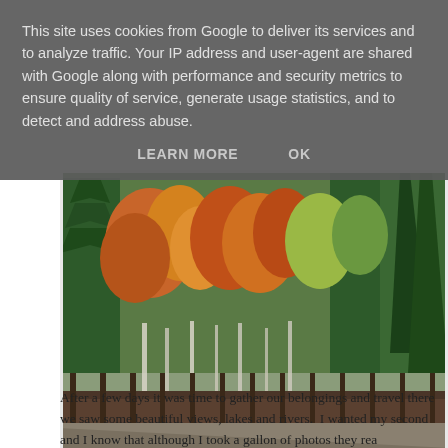This site uses cookies from Google to deliver its services and to analyze traffic. Your IP address and user-agent are shared with Google along with performance and security metrics to ensure quality of service, generate usage statistics, and to detect and address abuse.
LEARN MORE    OK
[Figure (photo): Autumn forest scene with mixed green conifers and deciduous trees showing orange, yellow, and red fall foliage. A fence line and road or path visible at bottom.]
After a few days it was time to gather our belongings and travel there we saw some beautiful views, lakes and rivers.  I wanted my second and I know that although I took a gallon of photos they rea